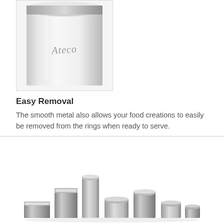[Figure (photo): Close-up photo of a white/silver stainless steel cylindrical ring mold with the Ateco logo engraved in script on the side. The top rim is visible showing the metal edge.]
Easy Removal
The smooth metal also allows your food creations to easily be removed from the rings when ready to serve.
[Figure (photo): Photo showing a set of multiple stainless steel ring molds of various sizes and shapes arranged in a row - including square, round, and cylindrical shapes of different heights and diameters.]